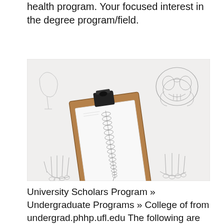health program. Your focused interest in the degree program/field.
[Figure (photo): A wooden clipboard with a pencil sketch of a human spine placed on top of various anatomical pencil drawings including a skull (upper right), hand bones (lower left and lower right), and other skeletal anatomical studies arranged on a white surface.]
University Scholars Program » Undergraduate Programs » College of from undergrad.phhp.ufl.edu The following are some of the admission steps that the candidates must pursue during the application